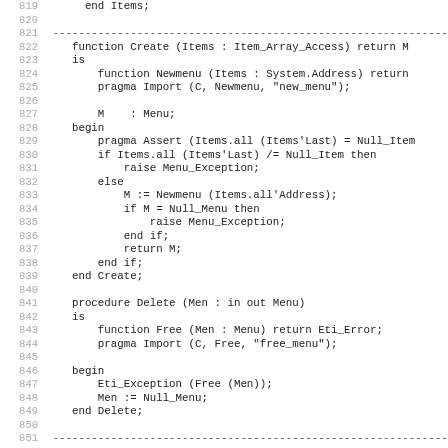Code listing lines 819-851, Ada source code for Create and Delete menu functions
[Figure (screenshot): Ada programming language source code with line numbers 819-851 showing function Create and procedure Delete implementations]